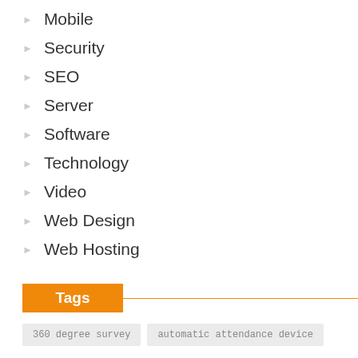Mobile
Security
SEO
Server
Software
Technology
Video
Web Design
Web Hosting
Tags
360 degree survey
automatic attendance device